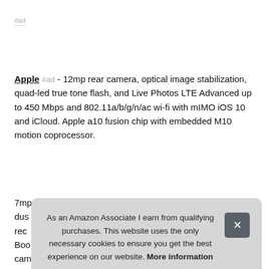#ad
Apple #ad - 12mp rear camera, optical image stabilization, quad-led true tone flash, and Live Photos LTE Advanced up to 450 Mbps and 802.11a/b/g/n/ac wi-fi with mIMO iOS 10 and iCloud. Apple a10 fusion chip with embedded M10 motion coprocessor.
More information #ad
7mp... dust... reco... Boo... carr...
As an Amazon Associate I earn from qualifying purchases. This website uses the only necessary cookies to ensure you get the best experience on our website. More information